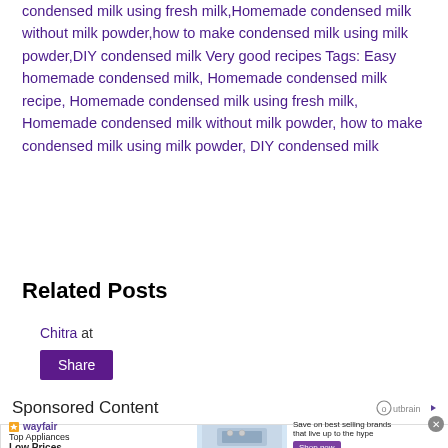condensed milk using fresh milk,Homemade condensed milk without milk powder,how to make condensed milk using milk powder,DIY condensed milk Very good recipes Tags: Easy homemade condensed milk, Homemade condensed milk recipe, Homemade condensed milk using fresh milk, Homemade condensed milk without milk powder, how to make condensed milk using milk powder, DIY condensed milk
Related Posts
Chitra at
Share
Sponsored Content
[Figure (other): Wayfair advertisement banner: Top Appliances Low Prices with appliance image and Shop now button]